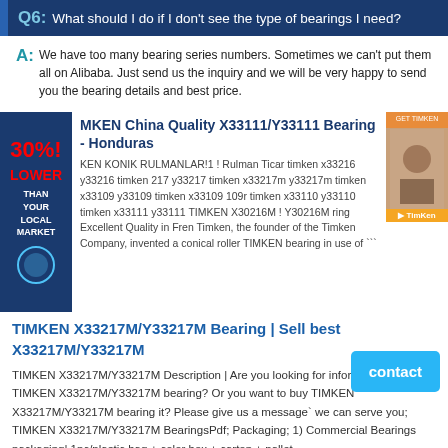Q6: What should I do if I don't see the type of bearings I need?
A: We have too many bearing series numbers. Sometimes we can't put them all on Alibaba. Just send us the inquiry and we will be very happy to send you the bearing details and best price.
[Figure (infographic): Advertisement banner with 30% lower than your local market badge on the left and a product photo on the right]
MKEN China Quality X33111/Y33111 Bearing - Honduras
KEN KONIK RULMANLAR!1 ! Rulman Ticar timken x33216 y33216 timken 217 y33217 timken x33217m y33217m timken x33109 y33109 timken x33109 109r timken x33110 y33110 timken x33111 y33111 TIMKEN X30216M ! Y30216M ring Excellent Quality in Fren Timken, the founder of the Timken Company, invented a conical roller TIMKEN bearing in use of ```
TIMKEN X33217M/Y33217M Bearing | Sell best X33217M/Y33217M
TIMKEN X33217M/Y33217M Description | Are you looking for information about TIMKEN X33217M/Y33217M bearing? Or you want to buy TIMKEN X33217M/Y33217M bearing it? Please give us a message` we can serve you; TIMKEN X33217M/Y33217M BearingsPdf; Packaging; 1) Commercial Bearings packaging| 1pc/plastic bag + color box + carton + pallet
TIMKEN 24152YMBW33W45A | Leader
X33217M/Y33217M Timken 85x150x49mm Width 49mm Tapered roller